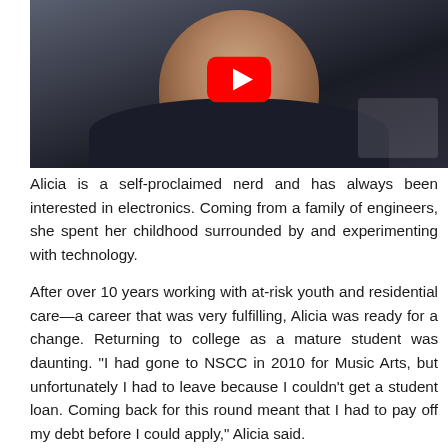[Figure (photo): Photo of a young person (Alicia) wearing a dark navy hoodie, with a YouTube play button overlay centered on the image, indicating this is a video thumbnail.]
Alicia is a self-proclaimed nerd and has always been interested in electronics. Coming from a family of engineers, she spent her childhood surrounded by and experimenting with technology.
After over 10 years working with at-risk youth and residential care—a career that was very fulfilling, Alicia was ready for a change. Returning to college as a mature student was daunting. "I had gone to NSCC in 2010 for Music Arts, but unfortunately I had to leave because I couldn't get a student loan. Coming back for this round meant that I had to pay off my debt before I could apply," Alicia said.
Thanks to donor funding, Alicia successfully applied to a few